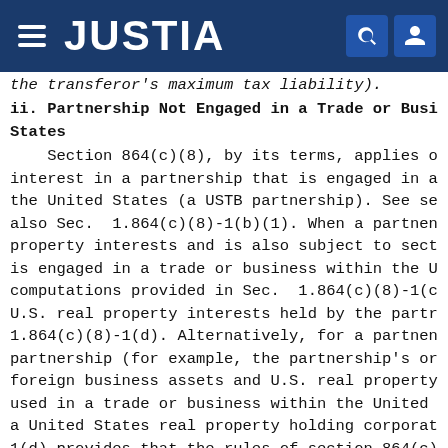JUSTIA
the transferor's maximum tax liability).
ii. Partnership Not Engaged in a Trade or Business Within the United States
Section 864(c)(8), by its terms, applies only to the sale of an interest in a partnership that is engaged in a trade or business within the United States (a USTB partnership). See sec. 897(g); see also Sec. 1.864(c)(8)-1(b)(1). When a partnership holds U.S. real property interests and is also subject to section 864(c)(8) because it is engaged in a trade or business within the U.S., an alternative computations provided in Sec. 1.864(c)(8)-1(c) applies with respect to U.S. real property interests held by the partnership. See Sec. 1.864(c)(8)-1(d). Alternatively, for a partnership that is not a USTB partnership (for example, the partnership's only assets are non-U.S. foreign business assets and U.S. real property interests that are not used in a trade or business within the United States but that make it a United States real property holding corporation), Sec. 1.864(c)(8)-1(d) provides that the rules of section 864(c)